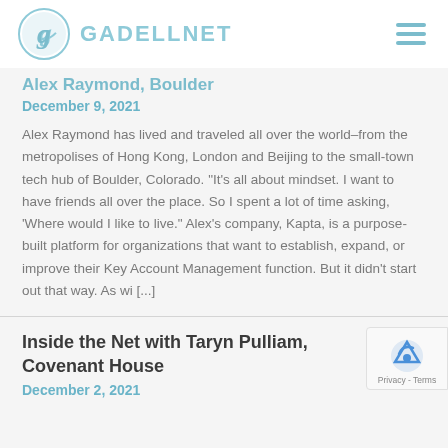GADELLNET
Alex Raymond, Boulder
December 9, 2021
Alex Raymond has lived and traveled all over the world–from the metropolises of Hong Kong, London and Beijing to the small-town tech hub of Boulder, Colorado. "It's all about mindset. I want to have friends all over the place. So I spent a lot of time asking, 'Where would I like to live." Alex's company, Kapta, is a purpose-built platform for organizations that want to establish, expand, or improve their Key Account Management function. But it didn't start out that way. As wi [...]
Inside the Net with Taryn Pulliam, Covenant House
December 2, 2021